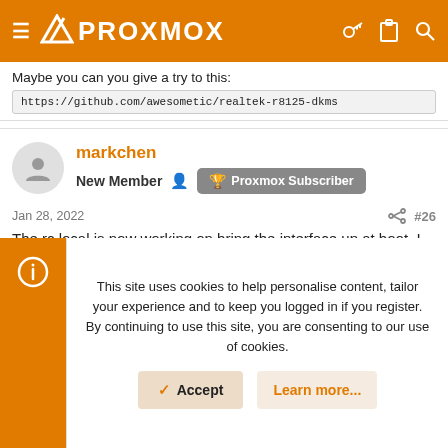PROXMOX
Maybe you can you give a try to this:
https://github.com/awesometic/realtek-r8125-dkms
markchen
New Member  Proxmox Subscriber
Jan 28, 2022  #26
The rc.local is now working on bring the interface up at boot. I change vmbr0 to emp2s0. The interface starts up in the up states, but no IP address is associated to the interface.
This site uses cookies to help personalise content, tailor your experience and to keep you logged in if you register.
By continuing to use this site, you are consenting to our use of cookies.